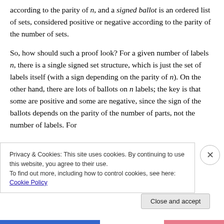a set of n elements, considered positive or negative according to the parity of n, and a signed ballot is an ordered list of sets, considered positive or negative according to the parity of the number of sets.
So, how should such a proof look? For a given number of labels n, there is a single signed set structure, which is just the set of labels itself (with a sign depending on the parity of n). On the other hand, there are lots of ballots on n labels; the key is that some are positive and some are negative, since the sign of the ballots depends on the parity of the number of parts, not the number of labels. For
Privacy & Cookies: This site uses cookies. By continuing to use this website, you agree to their use.
To find out more, including how to control cookies, see here: Cookie Policy